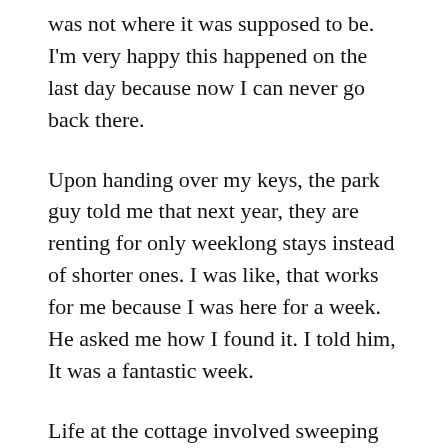was not where it was supposed to be. I'm very happy this happened on the last day because now I can never go back there.
Upon handing over my keys, the park guy told me that next year, they are renting for only weeklong stays instead of shorter ones. I was like, that works for me because I was here for a week. He asked me how I found it. I told him, It was a fantastic week.
Life at the cottage involved sweeping every morning. I finished reading three books and put a small dent in my Netflix queue instead of adding to my list, getting overwhelmed, and shutting it off to watch reruns of Guys Grocery Games—there's no TV and no radio. Everything I watched and listened to was completely